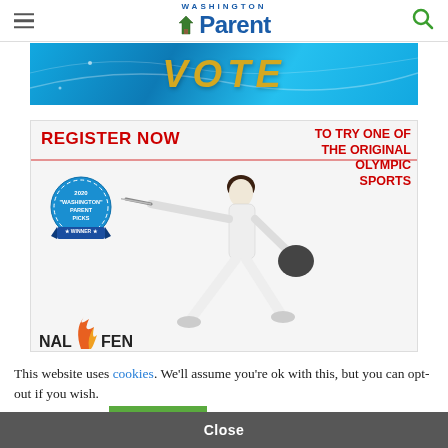Washington Parent
[Figure (screenshot): Blue banner with large gold italic text 'VOTE']
[Figure (infographic): Fencing academy advertisement: 'REGISTER NOW TO TRY ONE OF THE ORIGINAL OLYMPIC SPORTS' with fencer image, 2020 Washington Parent Picks Winner badge, and flame logo]
This website uses cookies. We'll assume you're ok with this, but you can opt-out if you wish.
Cookie settings   ACCEPT
Close